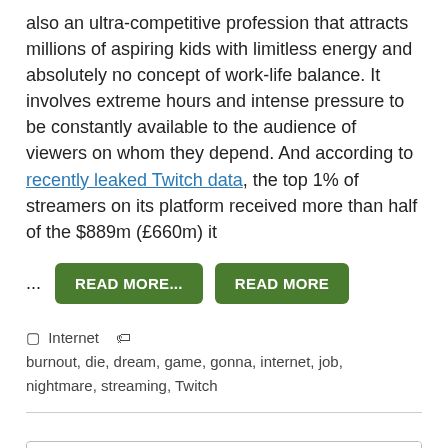also an ultra-competitive profession that attracts millions of aspiring kids with limitless energy and absolutely no concept of work-life balance. It involves extreme hours and intense pressure to be constantly available to the audience of viewers on whom they depend. And according to recently leaked Twitch data, the top 1% of streamers on its platform received more than half of the $889m (£660m) it
... READ MORE... READ MORE
Internet  burnout, die, dream, game, gonna, internet, job, nightmare, streaming, Twitch
Search
About Us